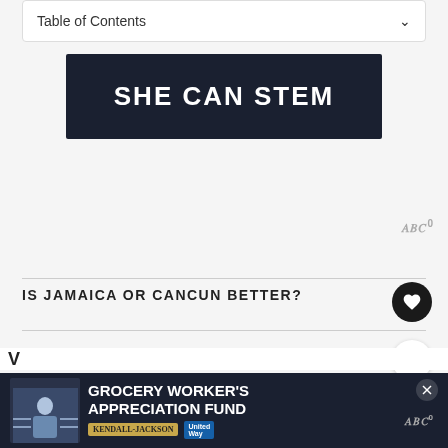Table of Contents
[Figure (illustration): SHE CAN STEM banner with white bold text on dark navy/black background]
IS JAMAICA OR CANCUN BETTER?
[Figure (infographic): Bottom advertisement banner: GROCERY WORKER'S APPRECIATION FUND with Kendall-Jackson and United Way logos, photo of grocery worker]